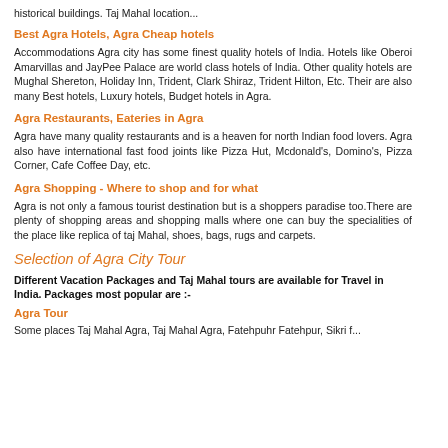historical buildings. Taj Mahal location...
Best Agra Hotels, Agra Cheap hotels
Accommodations Agra city has some finest quality hotels of India. Hotels like Oberoi Amarvillas and JayPee Palace are world class hotels of India. Other quality hotels are Mughal Shereton, Holiday Inn, Trident, Clark Shiraz, Trident Hilton, Etc. Their are also many Best hotels, Luxury hotels, Budget hotels in Agra.
Agra Restaurants, Eateries in Agra
Agra have many quality restaurants and is a heaven for north Indian food lovers. Agra also have international fast food joints like Pizza Hut, Mcdonald's, Domino's, Pizza Corner, Cafe Coffee Day, etc.
Agra Shopping - Where to shop and for what
Agra is not only a famous tourist destination but is a shoppers paradise too.There are plenty of shopping areas and shopping malls where one can buy the specialities of the place like replica of taj Mahal, shoes, bags, rugs and carpets.
Selection of Agra City Tour
Different Vacation Packages and Taj Mahal tours are available for Travel in India. Packages most popular are :-
Agra Tour
Some places Taj Mahal Agra, Taj Mahal Agra, Fatehpuhr Fatehpur, Sikri f...